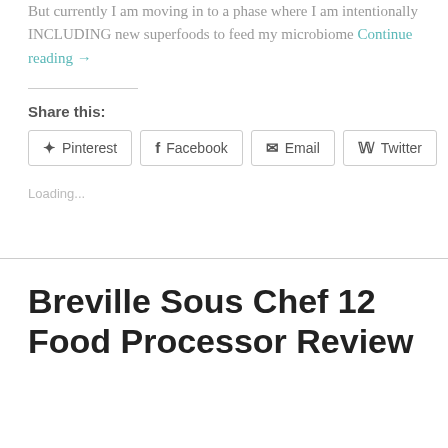But currently I am moving in to a phase where I am intentionally INCLUDING new superfoods to feed my microbiome Continue reading →
Share this:
Pinterest  Facebook  Email  Twitter
Loading...
Breville Sous Chef 12 Food Processor Review